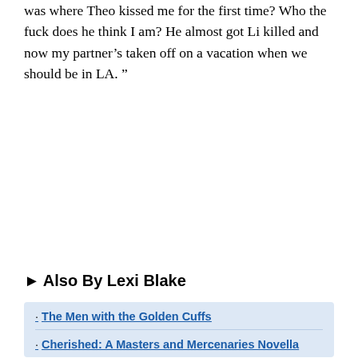was where Theo kissed me for the first time? Who the fuck does he think I am? He almost got Li killed and now my partner’s taken off on a vacation when we should be in LA. ”
► Also By Lexi Blake
The Men with the Golden Cuffs
Cherished: A Masters and Mercenaries Novella